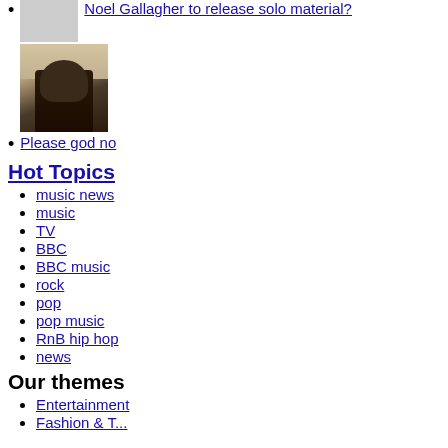Noel Gallagher to release solo material?
[Figure (photo): Photo of a young male celebrity (Justin Bieber) standing outdoors with sunlight in background]
Please god no
Hot Topics
music news
music
TV
BBC
BBC music
rock
pop
pop music
RnB hip hop
news
Our themes
Entertainment
Fashion & ...